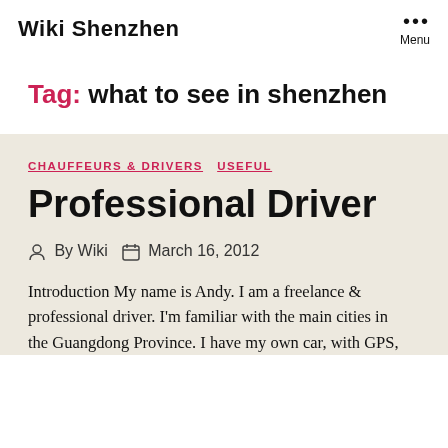Wiki Shenzhen
Tag: what to see in shenzhen
CHAUFFEURS & DRIVERS   USEFUL
Professional Driver
By Wiki   March 16, 2012
Introduction My name is Andy. I am a freelance & professional driver. I'm familiar with the main cities in the Guangdong Province. I have my own car, with GPS,